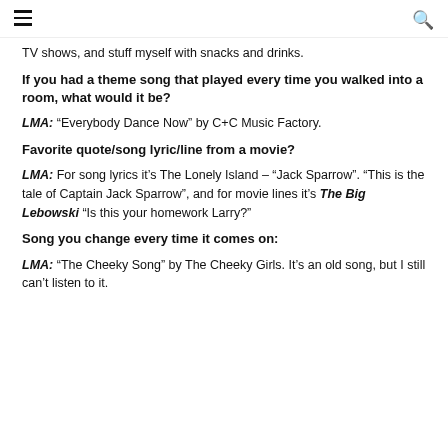[hamburger menu] [search icon]
TV shows, and stuff myself with snacks and drinks.
If you had a theme song that played every time you walked into a room, what would it be?
LMA: “Everybody Dance Now” by C+C Music Factory.
Favorite quote/song lyric/line from a movie?
LMA: For song lyrics it’s The Lonely Island – “Jack Sparrow”. “This is the tale of Captain Jack Sparrow”, and for movie lines it’s The Big Lebowski “Is this your homework Larry?”
Song you change every time it comes on:
LMA: “The Cheeky Song” by The Cheeky Girls. It’s an old song, but I still can’t listen to it.